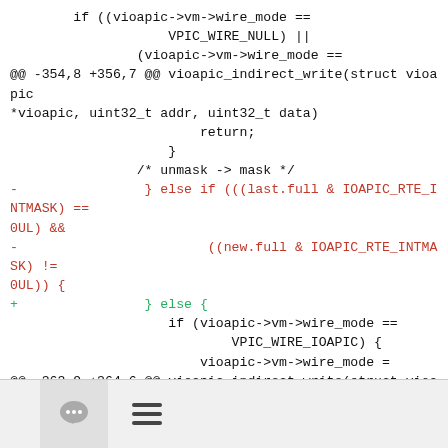if ((vioapic->vm->wire_mode ==
                    VPIC_WIRE_NULL) ||
                (vioapic->vm->wire_mode ==
@@ -354,8 +356,7 @@ vioapic_indirect_write(struct vioapic *vioapic, uint32_t addr, uint32_t data)
                        return;
                    }
                /* unmask -> mask */
-                } else if (((last.full & IOAPIC_RTE_INTMASK) ==
0UL) &&
-                        ((new.full & IOAPIC_RTE_INTMASK) !=
0UL)) {
+                } else {
                    if (vioapic->vm->wire_mode ==
                            VPIC_WIRE_IOAPIC) {
                        vioapic->vm->wire_mode =
@@ -363,9 +364,6 @@ vioapic_indirect_write(struct vioapic *vioapic, uint32_t addr, uint32_t data)
                    dev_dbg(ACRN_DBG_IOAPIC,
[Figure (other): Toolbar with comment bubble icon button and hamburger menu icon]